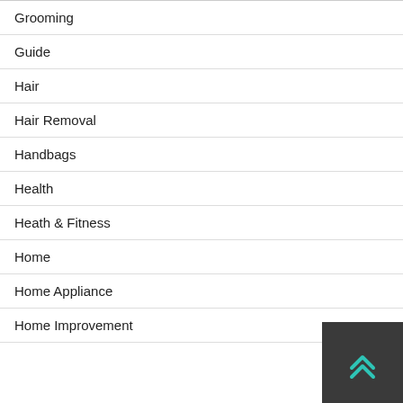Grooming
Guide
Hair
Hair Removal
Handbags
Health
Heath & Fitness
Home
Home Appliance
Home Improvement